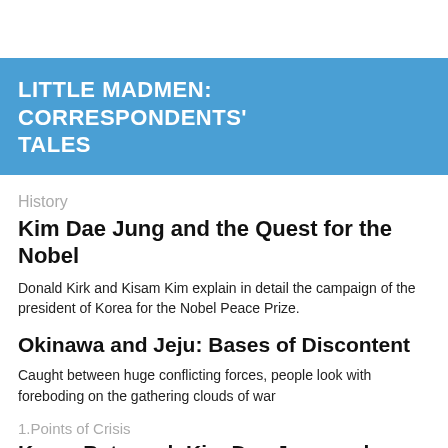LITTLE MADMEN: CORRESPONDENTS' TALES
History
Kim Dae Jung and the Quest for the Nobel
Donald Kirk and Kisam Kim explain in detail the campaign of the president of Korea for the Nobel Peace Prize.
Okinawa and Jeju: Bases of Discontent
Caught between huge conflicting forces, people look with foreboding on the gathering clouds of war
1.Points of Crisis
Korea Betrayed: Kim Dae Jung and